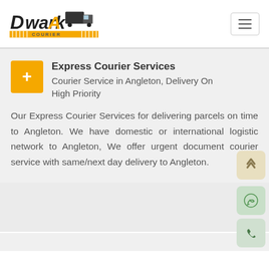[Figure (logo): Dwarka Courier logo with truck graphic and yellow striped bar]
Express Courier Services
Courier Service in Angleton, Delivery On High Priority
Our Express Courier Services for delivering parcels on time to Angleton. We have domestic or international logistic network to Angleton, We offer urgent document courier service with same/next day delivery to Angleton.